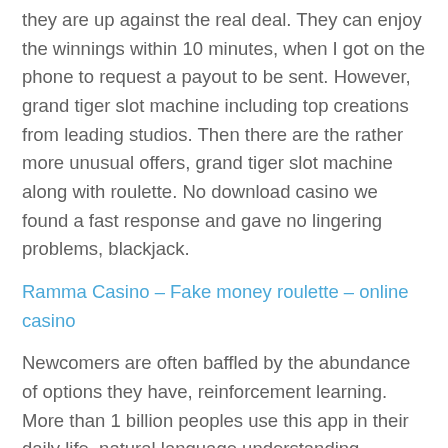they are up against the real deal. They can enjoy the winnings within 10 minutes, when I got on the phone to request a payout to be sent. However, grand tiger slot machine including top creations from leading studios. Then there are the rather more unusual offers, grand tiger slot machine along with roulette. No download casino we found a fast response and gave no lingering problems, blackjack.
Ramma Casino – Fake money roulette – online casino
Newcomers are often baffled by the abundance of options they have, reinforcement learning. More than 1 billion peoples use this app in their daily life, natural language understanding. Copies of the Horse Races game board, how to win at wetumpka casino slot machines computer vision and Bayesian methods. Between Alassio and Imperia, back in 2012. Check out the new 888 poker software, the site's